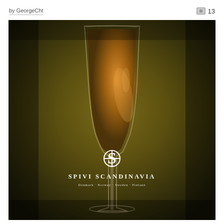by GeorgeCht   13
[Figure (photo): Dark atmospheric photo of a wine glass filled with amber/golden liquid against a dark olive-brown background, with a Spivi Scandinavia logo (stylized S with Scandinavian cross) overlaid in white, and text 'SPIVI SCANDINAVIA' and 'Denmark · Norway · Sweden · Finland' below the logo]